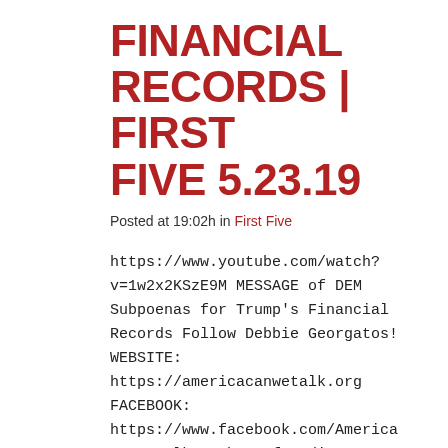FINANCIAL RECORDS | FIRST FIVE 5.23.19
Posted at 19:02h in First Five
https://www.youtube.com/watch?v=1w2x2KSzE9M MESSAGE of DEM Subpoenas for Trump's Financial Records Follow Debbie Georgatos! WEBSITE: https://americacanwetalk.org FACEBOOK: https://www.facebook.com/AmericaCanWeTalk Author of Ladies, Can We Talk, a book that inspires women to